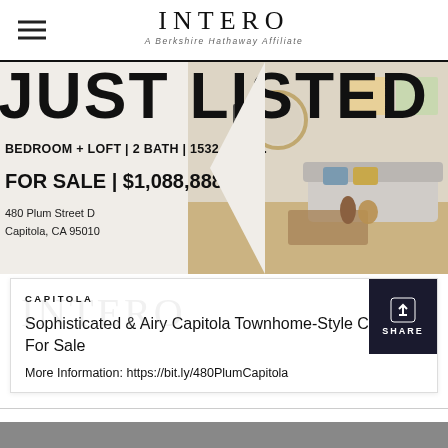INTERO A Berkshire Hathaway Affiliate
[Figure (photo): Real estate listing hero banner: 'JUST LISTED' text overlay with property specs (BEDROOM + LOFT | 2 BATH | 1532 SQ. FT.), price (FOR SALE | $1,088,888), address (480 Plum Street D, Capitola, CA 95010), and interior living room photo with sofa, coffee table, and artwork on walls.]
CAPITOLA
Sophisticated & Airy Capitola Townhome-Style Condo For Sale
More Information: https://bit.ly/480PlumCapitola